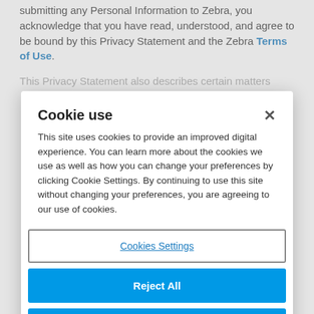submitting any Personal Information to Zebra, you acknowledge that you have read, understood, and agree to be bound by this Privacy Statement and the Zebra Terms of Use.
This Privacy Statement also describes certain matters
Cookie use
This site uses cookies to provide an improved digital experience. You can learn more about the cookies we use as well as how you can change your preferences by clicking Cookie Settings. By continuing to use this site without changing your preferences, you are agreeing to our use of cookies.
Cookies Settings
Reject All
Accept Cookies